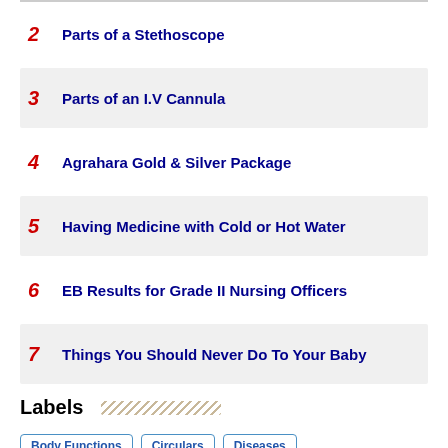2 Parts of a Stethoscope
3 Parts of an I.V Cannula
4 Agrahara Gold & Silver Package
5 Having Medicine with Cold or Hot Water
6 EB Results for Grade II Nursing Officers
7 Things You Should Never Do To Your Baby
Labels
Body Functions | Circulars | Diseases | Drugs / Medicines